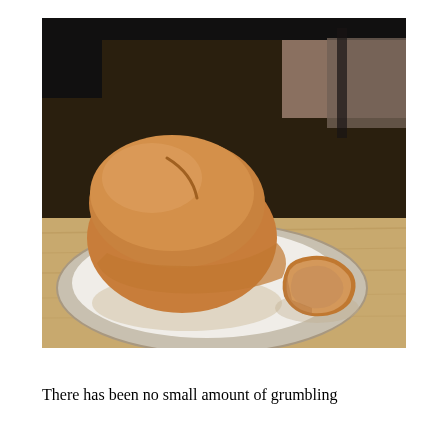[Figure (photo): A golden-brown round loaf of bread sitting on a white round plate on a wooden surface near a window, with a single slice of bread lying beside it on the plate.]
There has been no small amount of grumbling about the problem here.